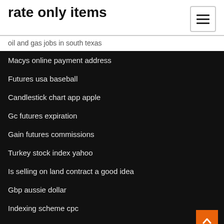rate only items
oil and gas jobs in south texas
Macys online payment address
Futures usa baseball
Candlestick chart app apple
Gc futures expiration
Gain futures commissions
Turkey stock index yahoo
Is selling on land contract a good idea
Gbp aussie dollar
Indexing scheme cpc
Finding the growth rate of dividends